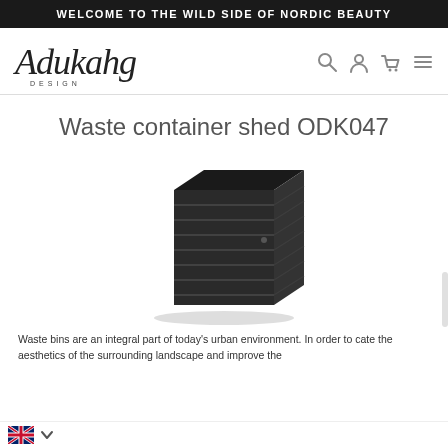WELCOME TO THE WILD SIDE OF NORDIC BEAUTY
[Figure (logo): Adukahg Design logo in italic script with DESIGN text underneath]
[Figure (other): Navigation icons: search (magnifying glass), account (person), cart (bag), menu (hamburger)]
Waste container shed ODK047
[Figure (photo): Dark/black wood-slatted waste container shed ODK047, 3D perspective view showing front and side panels]
Waste bins are an integral part of today's urban environment. In order to create the aesthetics of the surrounding landscape and improve the